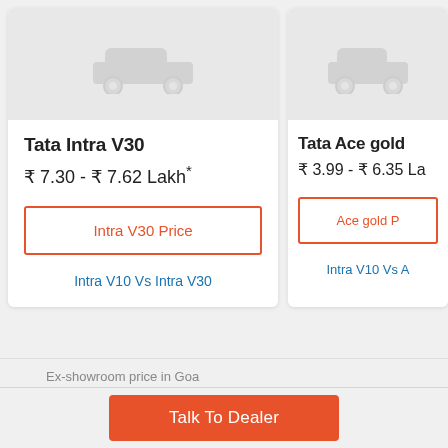[Figure (illustration): Placeholder car image for Tata Intra V30]
Tata Intra V30
₹ 7.30 - ₹ 7.62 Lakh*
Intra V30 Price
Intra V10 Vs Intra V30
[Figure (illustration): Placeholder car image for Tata Ace gold]
Tata Ace gold
₹ 3.99 - ₹ 6.35 La
Ace gold P
Intra V10 Vs A
Ex-showroom price in Goa
Talk To Dealer